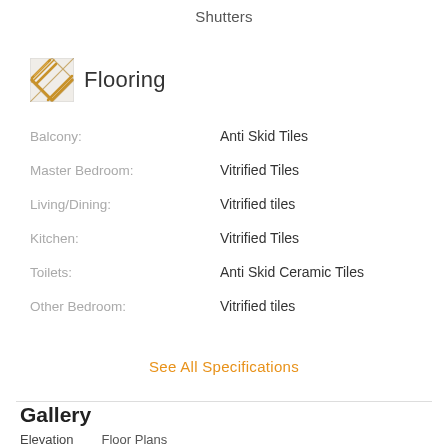Shutters
Flooring
Balcony: Anti Skid Tiles
Master Bedroom: Vitrified Tiles
Living/Dining: Vitrified tiles
Kitchen: Vitrified Tiles
Toilets: Anti Skid Ceramic Tiles
Other Bedroom: Vitrified tiles
See All Specifications
Gallery
Elevation   Floor Plans